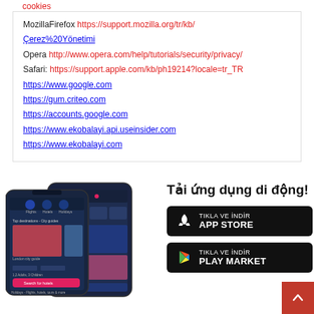cookies
MozillaFirefox https://support.mozilla.org/tr/kb/
Çerez%20Yönetimi
Opera http://www.opera.com/help/tutorials/security/privacy/
Safari: https://support.apple.com/kb/ph19214?locale=tr_TR
https://www.google.com
https://gum.criteo.com
https://accounts.google.com
https://www.ekobalayi.api.useinsider.com
https://www.ekobalayi.com
[Figure (screenshot): Two smartphones showing the Ekobalayi travel app with flights, hotels, and holidays screens]
Tải ứng dụng di động!
TIKLA VE İNDİR APP STORE
TIKLA VE İNDİR PLAY MARKET